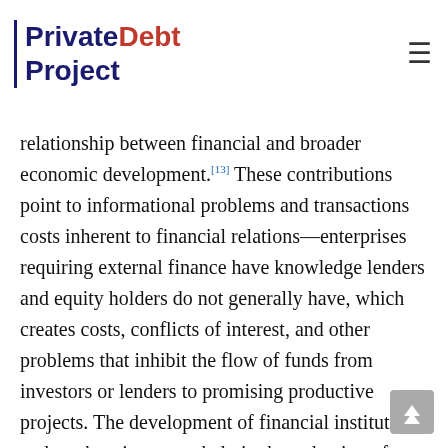PrivateDebt Project
relationship between financial and broader economic development.[13] These contributions point to informational problems and transactions costs inherent to financial relations—enterprises requiring external finance have knowledge lenders and equity holders do not generally have, which creates costs, conflicts of interest, and other problems that inhibit the flow of funds from investors or lenders to promising productive projects. The development of financial institutions and markets is seen to help in the reduction of these problems and costs. This in turn makes it